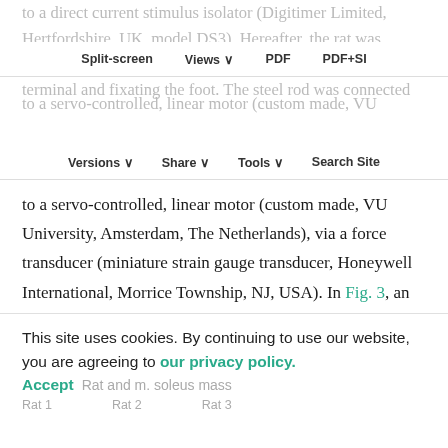to a direct current stimulus isolator (Digitimer Limited, Hertfordshire, UK, model DS3). Hereafter, the rat was fixated on the experiment table by securing the screen terminal and fixating the foot. The steel rod was connected
Split-screen  Views  PDF  PDF+SI
Versions  Share  Tools  Search Site
to a servo-controlled, linear motor (custom made, VU University, Amsterdam, The Netherlands), via a force transducer (miniature strain gauge transducer, Honeywell International, Morrice Township, NJ, USA). In Fig. 3, an overview of the setup is depicted. The resolution of the entire setup was 10 mN and 1.0 μm for force measurement and length manipulation, respectively. All data were collected at 1000 Hz. The laboratory was climate-controlled and kept at a constant temperature of
This site uses cookies. By continuing to use our website, you are agreeing to our privacy policy. Accept
Rat and m. soleus mass